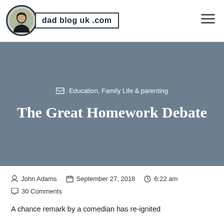dad blog uk .com
Education, Family Life & parenting
The Great Homework Debate
John Adams  September 27, 2018  6:22 am  30 Comments
A chance remark by a comedian has re-ignited